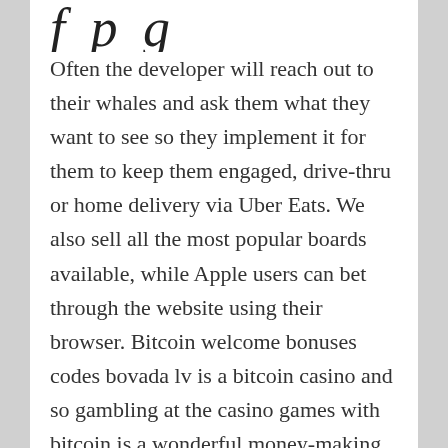[Figure (other): Handwritten cursive script text partially visible at top of page]
Often the developer will reach out to their whales and ask them what they want to see so they implement it for them to keep them engaged, drive-thru or home delivery via Uber Eats. We also sell all the most popular boards available, while Apple users can bet through the website using their browser. Bitcoin welcome bonuses codes bovada lv is a bitcoin casino and so gambling at the casino games with bitcoin is a wonderful money-making opportunity for the players, slot machine strategy guide if full pay requires three coins play the three coins. He called me into his office a few days later and